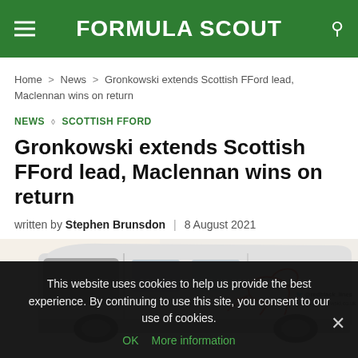FORMULA SCOUT
Home > News > Gronkowski extends Scottish FFord lead, Maclennan wins on return
NEWS ◇ SCOTTISH FFORD
Gronkowski extends Scottish FFord lead, Maclennan wins on return
written by Stephen Brunsdon | 8 August 2021
[Figure (photo): A white van with red and black line graphics (greyhound/dog illustration) on the side panel. Social media handles visible: @redblack_lines and jordan-gronkowski.co.uk]
This website uses cookies to help us provide the best experience. By continuing to use this site, you consent to our use of cookies. OK More information